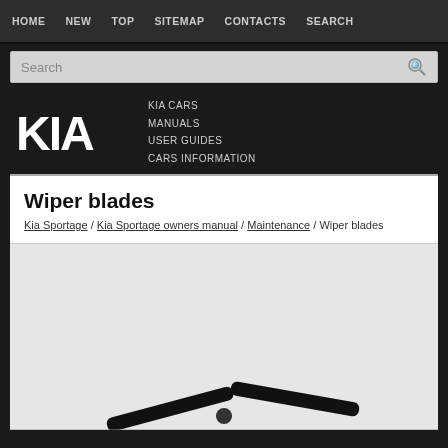HOME  NEW  TOP  SITEMAP  CONTACTS  SEARCH
Search
[Figure (logo): KIA logo with text: KIA CARS / MANUALS / USER GUIDES / CARS INFORMATION]
Wiper blades
Kia Sportage / Kia Sportage owners manual / Maintenance / Wiper blades
[Figure (photo): Partial image of wiper blades on a vehicle windshield, shown from above]